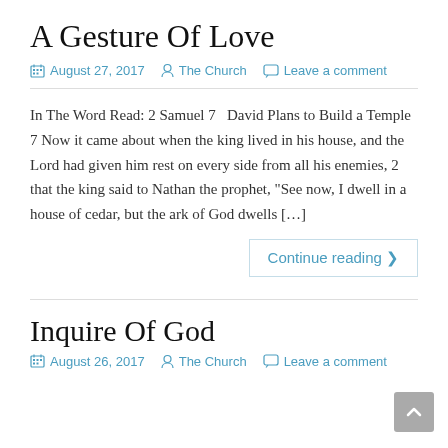A Gesture Of Love
August 27, 2017   The Church   Leave a comment
In The Word Read: 2 Samuel 7   David Plans to Build a Temple 7 Now it came about when the king lived in his house, and the Lord had given him rest on every side from all his enemies, 2 that the king said to Nathan the prophet, “See now, I dwell in a house of cedar, but the ark of God dwells […]
Continue reading ›
Inquire Of God
August 26, 2017   The Church   Leave a comment